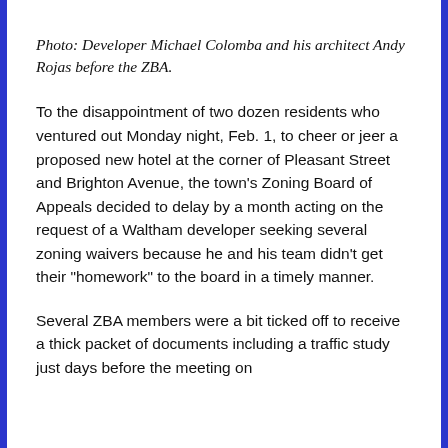Photo: Developer Michael Colomba and his architect Andy Rojas before the ZBA.
To the disappointment of two dozen residents who ventured out Monday night, Feb. 1, to cheer or jeer a proposed new hotel at the corner of Pleasant Street and Brighton Avenue, the town's Zoning Board of Appeals decided to delay by a month acting on the request of a Waltham developer seeking several zoning waivers because he and his team didn't get their "homework" to the board in a timely manner.
Several ZBA members were a bit ticked off to receive a thick packet of documents including a traffic study just days before the meeting on